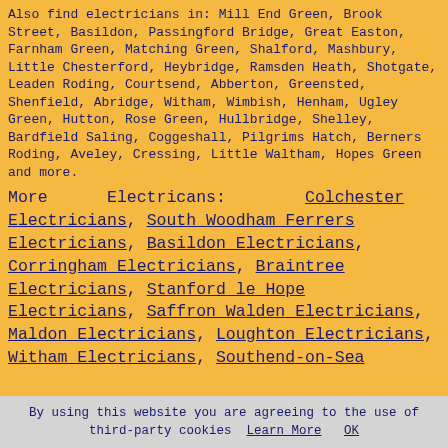Also find electricians in: Mill End Green, Brook Street, Basildon, Passingford Bridge, Great Easton, Farnham Green, Matching Green, Shalford, Mashbury, Little Chesterford, Heybridge, Ramsden Heath, Shotgate, Leaden Roding, Courtsend, Abberton, Greensted, Shenfield, Abridge, Witham, Wimbish, Henham, Ugley Green, Hutton, Rose Green, Hullbridge, Shelley, Bardfield Saling, Coggeshall, Pilgrims Hatch, Berners Roding, Aveley, Cressing, Little Waltham, Hopes Green and more.
More Electricans: Colchester Electricians, South Woodham Ferrers Electricians, Basildon Electricians, Corringham Electricians, Braintree Electricians, Stanford le Hope Electricians, Saffron Walden Electricians, Maldon Electricians, Loughton Electricians, Witham Electricians, Southend-on-Sea
By using this website you are agreeing to the use of third-party cookies Learn More OK